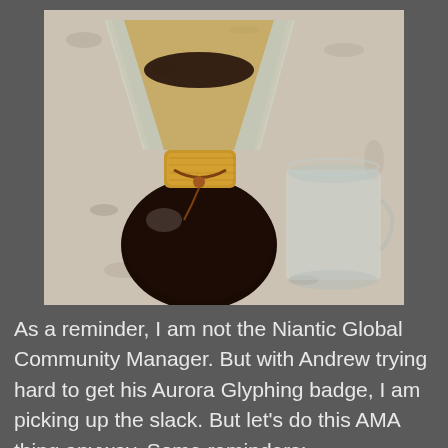[Figure (photo): A Chemex pour-over coffee maker with wooden collar and leather tie, filled with dark brewed coffee, sitting on a granite countertop next to a clear glass mug.]
As a reminder, I am not the Niantic Global Community Manager. But with Andrew trying hard to get his Aurora Glyphing badge, I am picking up the slack. But let's do this AMA thing anyway. Some reminders: